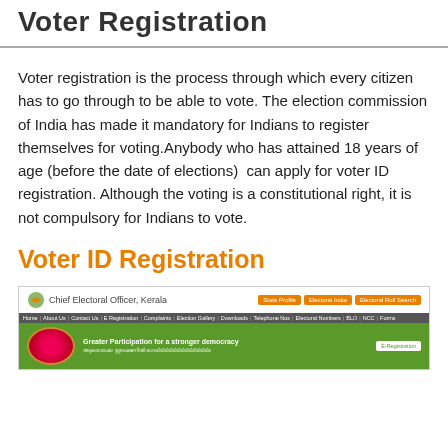Voter Registration
Voter registration is the process through which every citizen has to go through to be able to vote. The election commission of India has made it mandatory for Indians to register themselves for voting.Anybody who has attained 18 years of age (before the date of elections)  can apply for voter ID registration. Although the voting is a constitutional right, it is not compulsory for Indians to vote.
Voter ID Registration
[Figure (screenshot): Screenshot of the Chief Electoral Officer, Kerala website showing navigation bar and green banner with 'Greater Participation for a stronger democracy' text]